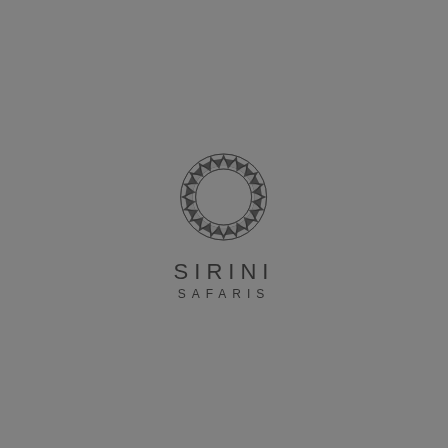[Figure (logo): Sirini Safaris logo: a circular ornamental ring made of repeating triangular/chevron African-pattern motifs in dark gray on gray background, with the text SIRINI above SAFARIS in spaced capitals below]